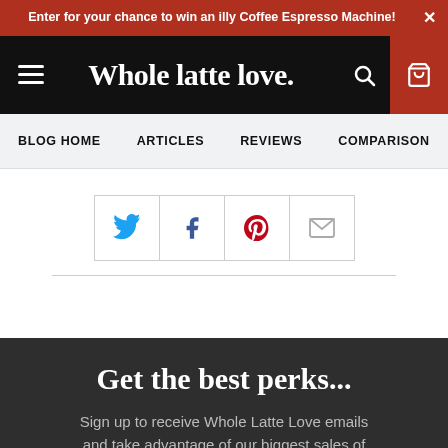Enter for your chance to win an illy Coffee Espresso Machine!
[Figure (logo): Whole latte love. site logo and navigation header with hamburger menu, search icon, and cart icon]
BLOG HOME   ARTICLES   REVIEWS   COMPARISON
[Figure (infographic): Social share buttons: Twitter, Facebook, Pinterest, Email]
Get the best perks...
Sign up to receive Whole Latte Love emails and take advantage of our biggest sales of